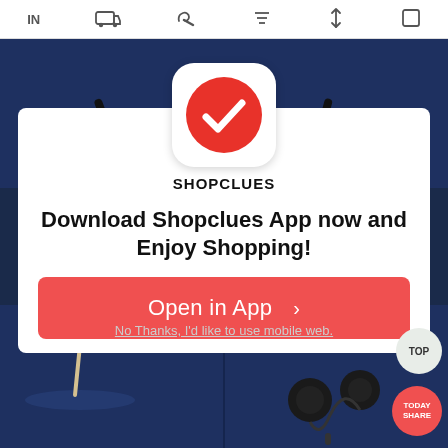[Figure (screenshot): Top navigation bar with icons: IN text, delivery truck, thumbs up, filter, sort, and square/menu icons on white background]
[Figure (photo): Background product images showing earphones on dark blue background, partially visible behind modal]
[Figure (logo): Shopclues app icon: white rounded square with red circle containing white checkmark, and SHOPCLUES text below]
Download Shopclues App now and Enjoy Shopping!
[Figure (other): Red rounded button with text 'Open in App >']
No Thanks, I'd like to use mobile web.
[Figure (photo): Bottom product images showing wired earphones with 3.5mm audio jack on dark blue background, with TOP and TODAY SHARE circular badges]